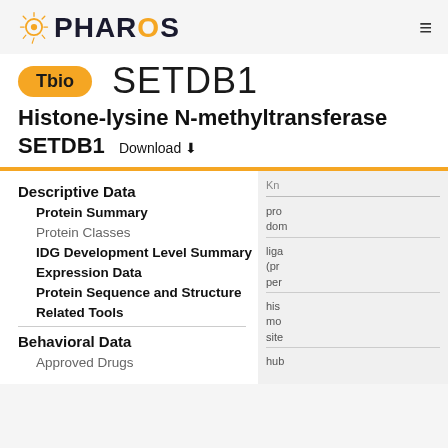PHAROS
SETDB1
Tbio
Histone-lysine N-methyltransferase SETDB1  Download ⬇
Descriptive Data
Protein Summary
Protein Classes
IDG Development Level Summary
Expression Data
Protein Sequence and Structure
Related Tools
Behavioral Data
Approved Drugs
Kn
pro dom
liga (pr per
his mo site
hub